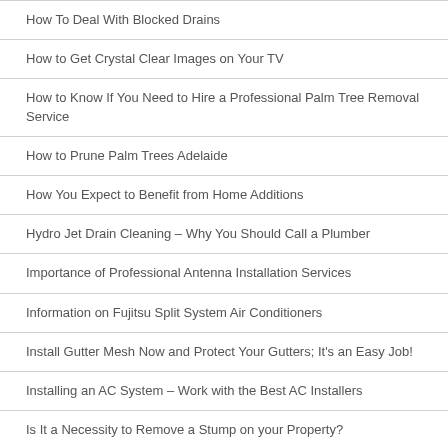How To Deal With Blocked Drains
How to Get Crystal Clear Images on Your TV
How to Know If You Need to Hire a Professional Palm Tree Removal Service
How to Prune Palm Trees Adelaide
How You Expect to Benefit from Home Additions
Hydro Jet Drain Cleaning – Why You Should Call a Plumber
Importance of Professional Antenna Installation Services
Information on Fujitsu Split System Air Conditioners
Install Gutter Mesh Now and Protect Your Gutters; It's an Easy Job!
Installing an AC System – Work with the Best AC Installers
Is It a Necessity to Remove a Stump on your Property?
Is It Time to Replace the Car Battery?
Is Pre-Purchase Building Inspection That Important?